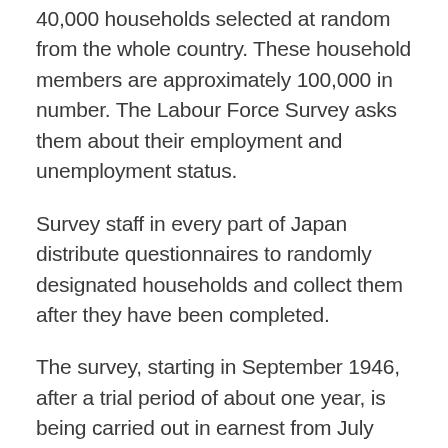40,000 households selected at random from the whole country. These household members are approximately 100,000 in number. The Labour Force Survey asks them about their employment and unemployment status.
Survey staff in every part of Japan distribute questionnaires to randomly designated households and collect them after they have been completed.
The survey, starting in September 1946, after a trial period of about one year, is being carried out in earnest from July 1947. Then, as the designated statistical surveys by, fundamental statistics by ((2007) Law No. 53, 2007) Statistics Act from April 2009 ((1947) Act No. 18 in 1947) Statistics Act from April 1950 It is implemented as a research. In addition, in 1982, the sample